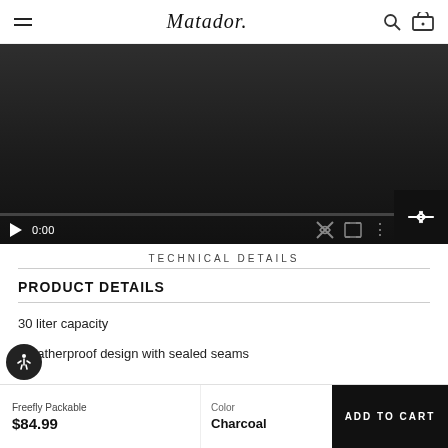Matador
[Figure (screenshot): Video player showing a dark screen with playback controls: play button, time 0:00, progress bar, mute icon, fullscreen icon, and options menu. An expand/swap icon overlay appears in the bottom right corner.]
TECHNICAL DETAILS
PRODUCT DETAILS
30 liter capacity
Weatherproof design with sealed seams
Freefly Packable  $84.99  Color  Charcoal  ADD TO CART